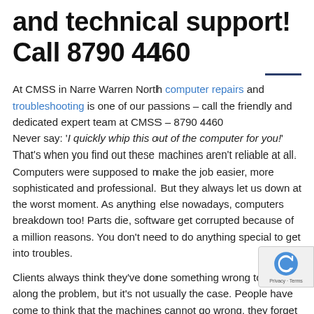and technical support! Call 8790 4460
At CMSS in Narre Warren North computer repairs and troubleshooting is one of our passions – call the friendly and dedicated expert team at CMSS – 8790 4460
Never say: 'I quickly whip this out of the computer for you!' That's when you find out these machines aren't reliable at all. Computers were supposed to make the job easier, more sophisticated and professional. But they always let us down at the worst moment. As anything else nowadays, computers breakdown too! Parts die, software get corrupted because of a million reasons. You don't need to do anything special to get into troubles.
Clients always think they've done something wrong to bring along the problem, but it's not usually the case. People have come to think that the machines cannot go wrong, they forget those machines are designed and built by humans. As the saying goes: 'We are only humans and not perfect' therefore we make m... Yes we can strive for the best possible outcomes, neverthel... there will be imperfections. All computers, be they Mac or W... based will give you grief some day or another because someone...